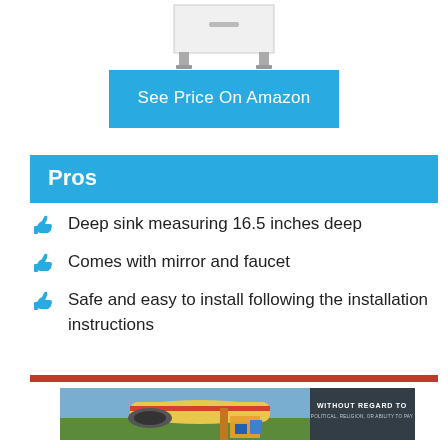[Figure (photo): Product image of a white bathroom vanity/sink unit with legs, partially cropped at top]
See Price On Amazon
Pros
Deep sink measuring 16.5 inches deep
Comes with mirror and faucet
Safe and easy to install following the installation instructions
[Figure (photo): Advertisement photo showing an airplane being loaded with cargo at airport, with dark overlay on right reading WITHOUT REGARD TO POLITICAL RELIGION OR ABILITY TO PAY]